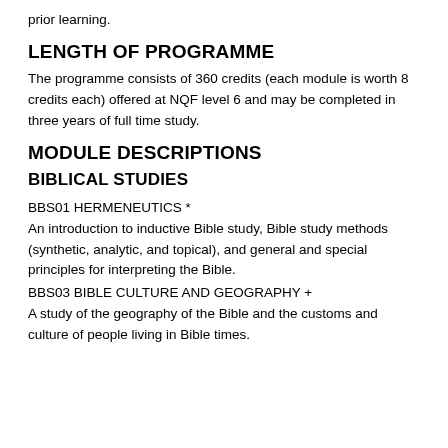prior learning.
LENGTH OF PROGRAMME
The programme consists of 360 credits (each module is worth 8 credits each) offered at NQF level 6 and may be completed in three years of full time study.
MODULE DESCRIPTIONS
BIBLICAL STUDIES
BBS01 HERMENEUTICS *
An introduction to inductive Bible study, Bible study methods (synthetic, analytic, and topical), and general and special principles for interpreting the Bible.
BBS03 BIBLE CULTURE AND GEOGRAPHY +
A study of the geography of the Bible and the customs and culture of people living in Bible times.